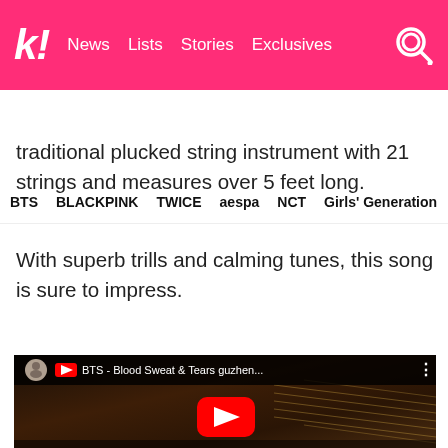k! News  Lists  Stories  Exclusives
BTS  BLACKPINK  TWICE  aespa  NCT  Girls' Generation
traditional plucked string instrument with 21 strings and measures over 5 feet long.
With superb trills and calming tunes, this song is sure to impress.
[Figure (screenshot): YouTube video embed showing BTS - Blood Sweat & Tears guzheng cover, with a young woman playing the guzheng instrument]